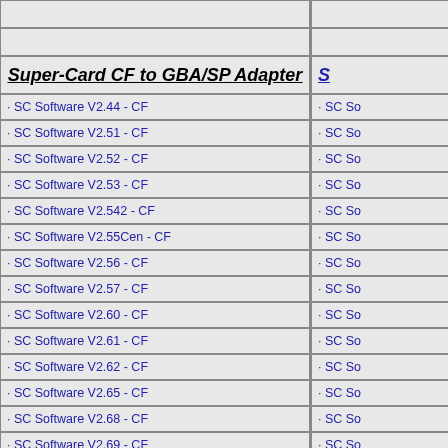| Super-Card CF to GBA/SP Adapter | S... |
| --- | --- |
| · SC Software V2.44 - CF | · SC So... |
| · SC Software V2.51 - CF | · SC So... |
| · SC Software V2.52 - CF | · SC So... |
| · SC Software V2.53 - CF | · SC So... |
| · SC Software V2.542 - CF | · SC So... |
| · SC Software V2.55Cen - CF | · SC So... |
| · SC Software V2.56 - CF | · SC So... |
| · SC Software V2.57 - CF | · SC So... |
| · SC Software V2.60 - CF | · SC So... |
| · SC Software V2.61 - CF | · SC So... |
| · SC Software V2.62 - CF | · SC So... |
| · SC Software V2.65 - CF | · SC So... |
| · SC Software V2.68 - CF | · SC So... |
| · SC Software V2.69 - CF | · SC So... |
| · SC Software V2.70 - CF | · SC So... |